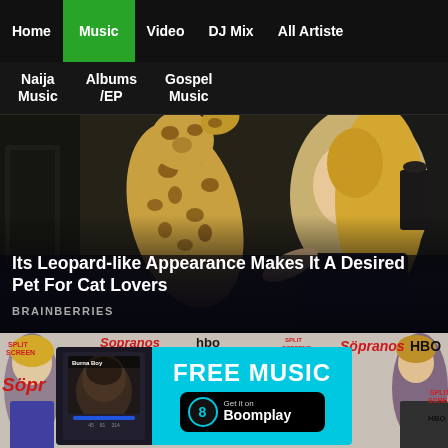Home | Music | Video | DJ Mix | All Artiste | Naija Music | Albums /EP | Gospel Music
[Figure (photo): A woman with blonde hair interacting with a large spotted leopard-like cat (Savannah cat), with dark home interior background. Hero image for article.]
Its Leopard-like Appearance Makes It A Desired Pet For Cat Lovers
BRAINBERRIES
[Figure (screenshot): Boomplay music app advertisement banner. Shows a phone screenshot with Burna Boy, text 'FREE MUSIC' and 'Get it on Boomplay' button with Boomplay logo. Cyan/teal background. Bottom section also shows partial Sopranos HBO promotional imagery.]